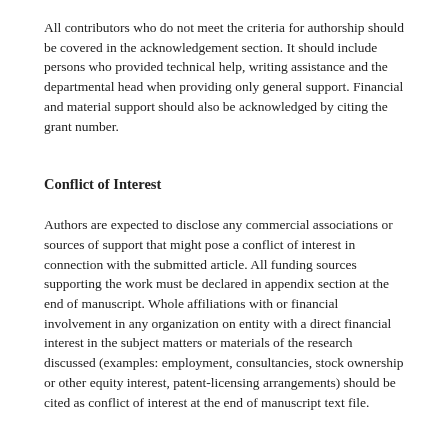All contributors who do not meet the criteria for authorship should be covered in the acknowledgement section. It should include persons who provided technical help, writing assistance and the departmental head when providing only general support. Financial and material support should also be acknowledged by citing the grant number.
Conflict of Interest
Authors are expected to disclose any commercial associations or sources of support that might pose a conflict of interest in connection with the submitted article. All funding sources supporting the work must be declared in appendix section at the end of manuscript. Whole affiliations with or financial involvement in any organization on entity with a direct financial interest in the subject matters or materials of the research discussed (examples: employment, consultancies, stock ownership or other equity interest, patent-licensing arrangements) should be cited as conflict of interest at the end of manuscript text file.
Ethics approval and consent to participate